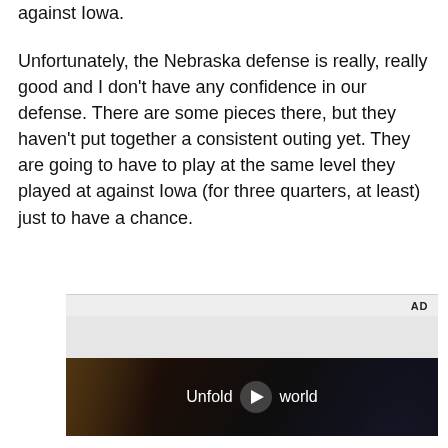against Iowa.
Unfortunately, the Nebraska defense is really, really good and I don't have any confidence in our defense. There are some pieces there, but they haven't put together a consistent outing yet. They are going to have to play at the same level they played at against Iowa (for three quarters, at least) just to have a chance.
[Figure (screenshot): Advertisement video player showing a Samsung Galaxy Unfold advertisement with text 'Unfold your world' and a play button, overlaid on a dark video frame of a person in a car.]